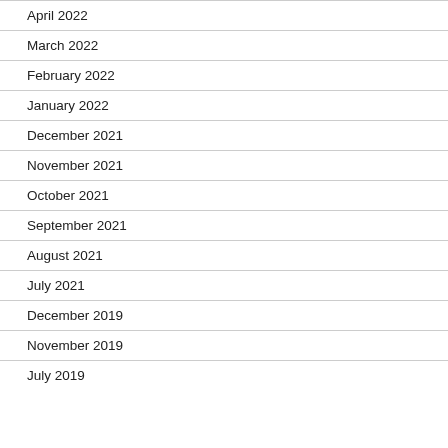April 2022
March 2022
February 2022
January 2022
December 2021
November 2021
October 2021
September 2021
August 2021
July 2021
December 2019
November 2019
July 2019